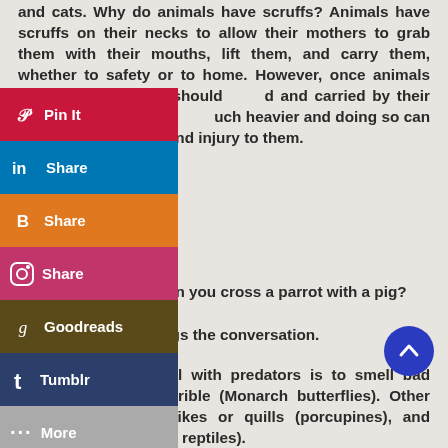and cats. Why do animals have scruffs? Animals have scruffs on their necks to allow their mothers to grab them with their mouths, lift them, and carry them, whether to safety or to home. However, once animals are full grown, they should [not be] grabbed and carried by their scruffs because they are much heavier and doing so can cause physical pain and injury to them.
[Figure (screenshot): Social media share buttons overlay: Pinterest Pin It (red), LinkedIn Share (blue), Blogger Share (orange), Instagram Share (pink/magenta), Goodreads (dark brown/olive), Tumblr (dark blue), More (gray)]
What do you get when you cross a parrot with a pig? A bird that hogs the conversation.
The best way to deal with predators is to smell bad (skunks) or taste terrible (Monarch butterflies). Other defenses include spikes or quills (porcupines), and scales (pangolins and reptiles).